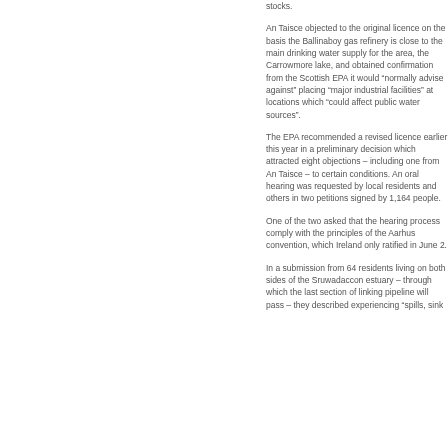stocks.
An Taisce objected to the original licence on the basis the Ballinaboy gas refinery is close to the main drinking water supply for the area, the Carrowmore lake, and obtained confirmation from the Scottish EPA it would “normally advise against” placing “major industrial facilities” at locations which “could affect public water sources”.
The EPA recommended a revised licence earlier this year in a preliminary decision which attracted eight objections – including one from An Taisce – to certain conditions. An oral hearing was requested by local residents and others in two petitions signed by 1,164 people.
One of the two asked that the hearing process comply with the principles of the Aarhus convention, which Ireland only ratified in June 2.
In a submission from 64 residents living on both sides of the Sruwadaccon estuary – through which the last section of linking pipeline will pass – they described experiencing “spills, sink